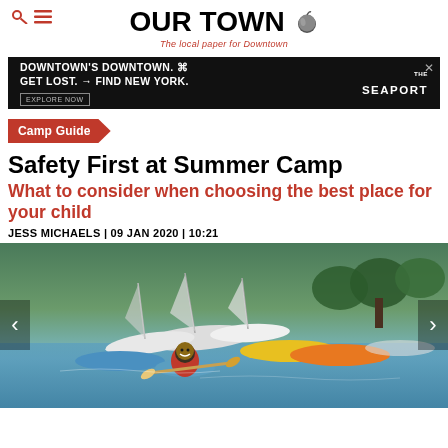OUR TOWN – The local paper for Downtown
[Figure (other): Advertisement banner: DOWNTOWN'S DOWNTOWN. GET LOST. → FIND NEW YORK. EXPLORE NOW – THE SEAPORT]
Camp Guide
Safety First at Summer Camp
What to consider when choosing the best place for your child
JESS MICHAELS | 09 JAN 2020 | 10:21
[Figure (photo): A smiling child wearing a red life jacket sits in a kayak on a lake surrounded by other kayaks and sailboats, with green trees in the background.]